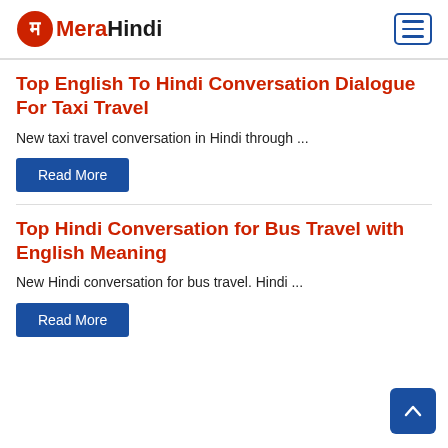MeraHindi
Top English To Hindi Conversation Dialogue For Taxi Travel
New taxi travel conversation in Hindi through ...
Read More
Top Hindi Conversation for Bus Travel with English Meaning
New Hindi conversation for bus travel. Hindi ...
Read More